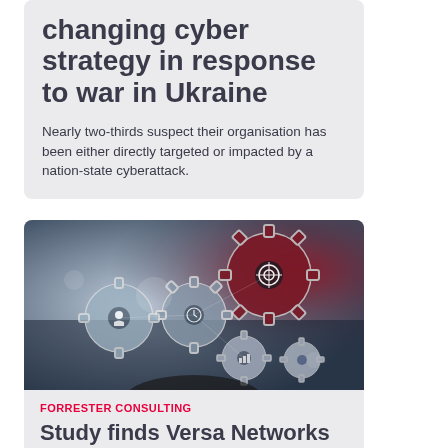changing cyber strategy in response to war in Ukraine
Nearly two-thirds suspect their organisation has been either directly targeted or impacted by a nation-state cyberattack.
[Figure (photo): Image of mechanical gears with icons representing business and technology concepts on a dark blue and red background, hands visible below suggesting digital interaction.]
FORRESTER CONSULTING
Study finds Versa Networks helps